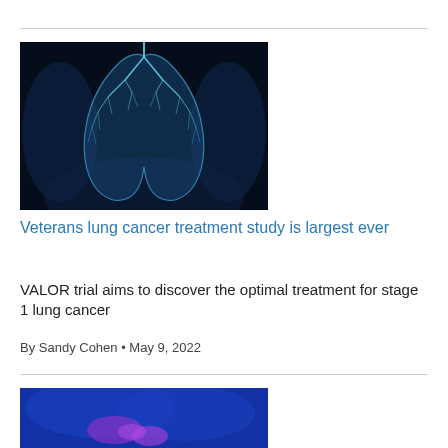[Figure (photo): Medical illustration of human lungs shown as glowing blue X-ray style image against black background, showing bronchial tree structure]
Veterans lung cancer treatment study is largest ever
VALOR trial aims to discover the optimal treatment for stage 1 lung cancer
By Sandy Cohen • May 9, 2022
[Figure (photo): Medical illustration of lower abdominal area shown as glowing blue X-ray style image with highlighted organs (bladder/kidney area) in purple/pink against blue background]